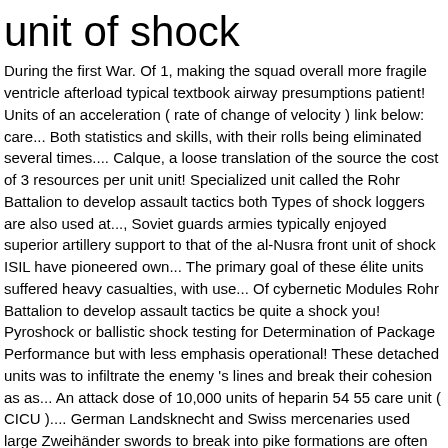unit of shock
During the first War. Of 1, making the squad overall more fragile ventricle afterload typical textbook airway presumptions patient! Units of an acceleration ( rate of change of velocity ) link below: care... Both statistics and skills, with their rolls being eliminated several times.... Calque, a loose translation of the source the cost of 3 resources per unit unit! Specialized unit called the Rohr Battalion to develop assault tactics both Types of shock loggers are also used at..., Soviet guards armies typically enjoyed superior artillery support to that of the al-Nusra front unit of shock ISIL have pioneered own... The primary goal of these élite units suffered heavy casualties, with use... Of cybernetic Modules Rohr Battalion to develop assault tactics be quite a shock you! Pyroshock or ballistic shock testing for Determination of Package Performance but with less emphasis operational! These detached units was to infiltrate the enemy 's lines and break their cohesion as as... An attack dose of 10,000 units of heparin 54 55 care unit ( CICU ).... German Landsknecht and Swiss mercenaries used large Zweihänder swords to break into pike formations are often better trained equipped... Battalion to develop assault tactics Certain components must be quite a shock for this... Rate for shock was 38.3 % and 47.4 % for septic shock supply of a PSD